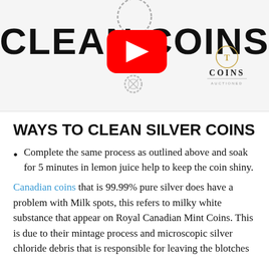[Figure (screenshot): Header image showing 'CLEAN COINS' text in bold black with a YouTube play button overlay in the center, a sketched exclamation mark coin illustration, and a 'Coins Auctioned' logo with circular T emblem on the right side against a light gray background.]
WAYS TO CLEAN SILVER COINS
Complete the same process as outlined above and soak for 5 minutes in lemon juice help to keep the coin shiny.
Canadian coins that is 99.99% pure silver does have a problem with Milk spots, this refers to milky white substance that appear on Royal Canadian Mint Coins. This is due to their mintage process and microscopic silver chloride debris that is responsible for leaving the blotches